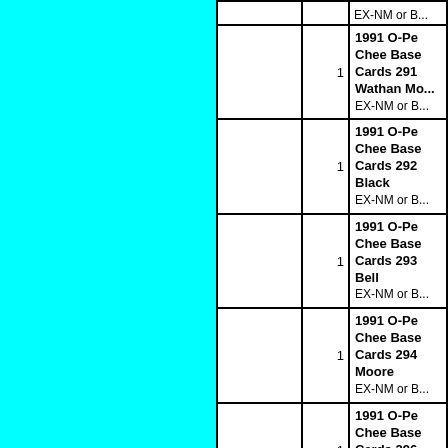|  | Qty | Description |
| --- | --- | --- |
|  |  | EX-NM or B... |
|  | 1 | 1991 O-Pe Chee Base Cards 291 Wathan Mo... EX-NM or B... |
|  | 1 | 1991 O-Pe Chee Base Cards 292 Black EX-NM or B... |
|  | 1 | 1991 O-Pe Chee Base Cards 293 Bell EX-NM or B... |
|  | 1 | 1991 O-Pe Chee Base Cards 294 Moore EX-NM or B... |
|  | 1 | 1991 O-Pe Chee Base Cards 296 Williamson... EX-NM or B... |